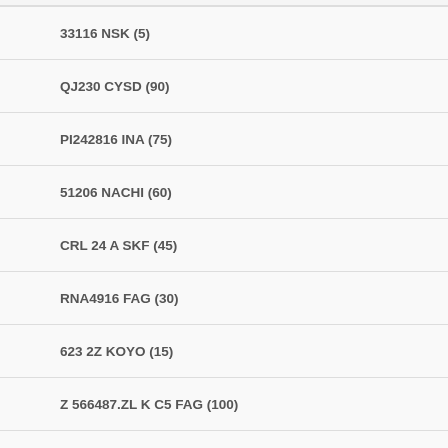33116 NSK (5)
QJ230 CYSD (90)
PI242816 INA (75)
51206 NACHI (60)
CRL 24 A SKF (45)
RNA4916 FAG (30)
623 2Z KOYO (15)
Z 566487.ZL K C5 FAG (100)
B7030C.T.P4S.UL FAG (85)
6208LLU NTN (70)
29426rn fy KOYO (55)